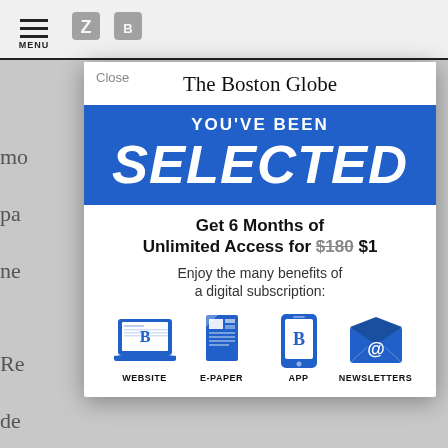[Figure (screenshot): Boston Globe subscription modal overlay on a news article page. The modal shows 'YOU'VE BEEN SELECTED' in a blue banner, an offer for '6 Months of Unlimited Access for $180 $1', and four benefit icons: Website, E-Paper, App, Newsletters.]
The Boston Globe
YOU'VE BEEN
SELECTED
Get 6 Months of Unlimited Access for $180 $1
Enjoy the many benefits of a digital subscription:
WEBSITE   E-PAPER   APP   NEWSLETTERS